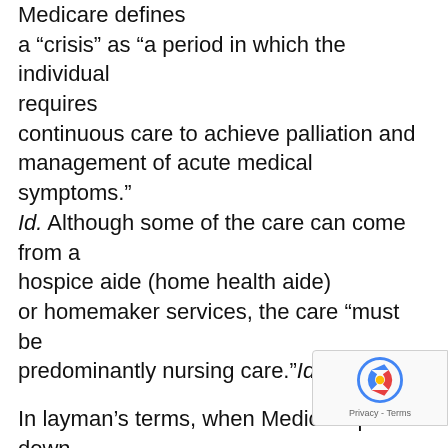Medicare defines a “crisis” as “a period in which the individual requires continuous care to achieve palliation and management of acute medical symptoms.” Id. Although some of the care can come from a hospice aide (home health aide) or homemaker services, the care “must be predominantly nursing care.”Id.
In layman’s terms, when Medicare plunks down big dollars for continuous care, it is presuming that the care is temporary because a patient is in such medical crisis that he needs full nursing care. The only applies to hospice care that is given where the patient lives, whether it be at home, in an assisted living facility, a